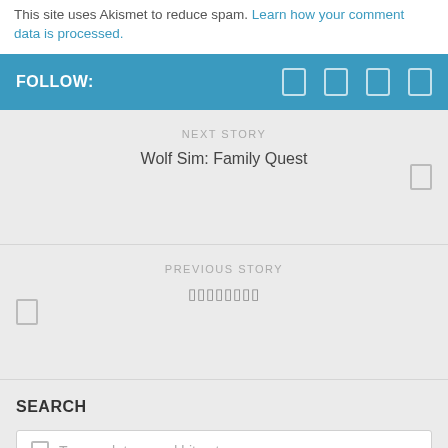This site uses Akismet to reduce spam. Learn how your comment data is processed.
FOLLOW:
NEXT STORY
Wolf Sim: Family Quest
PREVIOUS STORY
[non-latin text]
SEARCH
To search type and hit enter